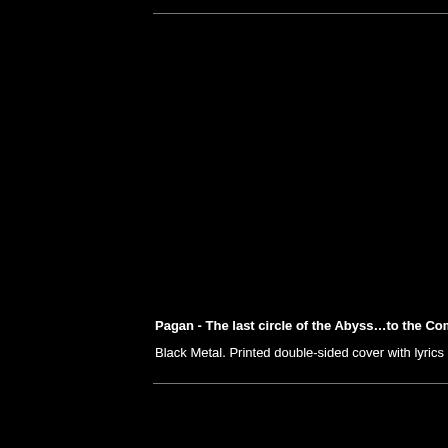Pagan - The last circle of the Abyss…to the Coming T
Black Metal. Printed double-sided cover with lyrics and p